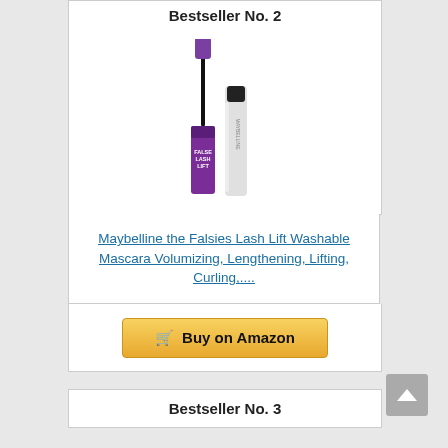Bestseller No. 2
[Figure (photo): Maybelline the Falsies Lash Lift mascara product photo showing the wand applicator and two tubes - one purple and one silver/white]
Maybelline the Falsies Lash Lift Washable Mascara Volumizing, Lengthening, Lifting, Curling,...
Buy on Amazon
Bestseller No. 3